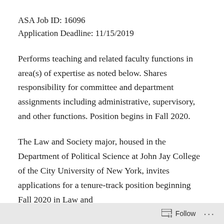ASA Job ID: 16096
Application Deadline: 11/15/2019
Performs teaching and related faculty functions in area(s) of expertise as noted below. Shares responsibility for committee and department assignments including administrative, supervisory, and other functions. Position begins in Fall 2020.
The Law and Society major, housed in the Department of Political Science at John Jay College of the City University of New York, invites applications for a tenure-track position beginning Fall 2020 in Law and
Follow ...